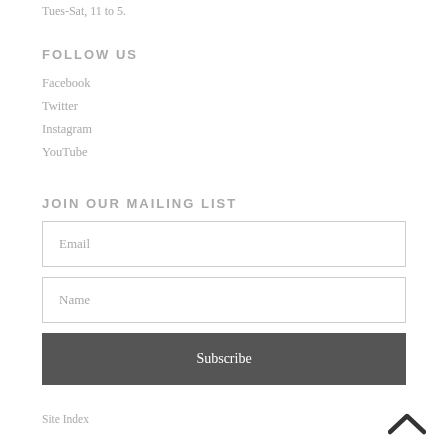Tues-Sat, 11 to 5.
FOLLOW US
Facebook
Twitter
Instagram
YouTube
JOIN OUR MAILING LIST
Email (input field)
Name (input field)
Subscribe (button)
Site Index
[Figure (other): Back to top chevron arrow icon]